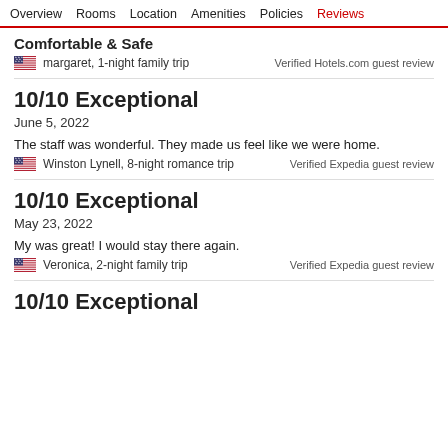Overview  Rooms  Location  Amenities  Policies  Reviews
Comfortable & Safe
margaret, 1-night family trip
Verified Hotels.com guest review
10/10 Exceptional
June 5, 2022
The staff was wonderful. They made us feel like we were home.
Winston Lynell, 8-night romance trip
Verified Expedia guest review
10/10 Exceptional
May 23, 2022
My was great! I would stay there again.
Veronica, 2-night family trip
Verified Expedia guest review
10/10 Exceptional